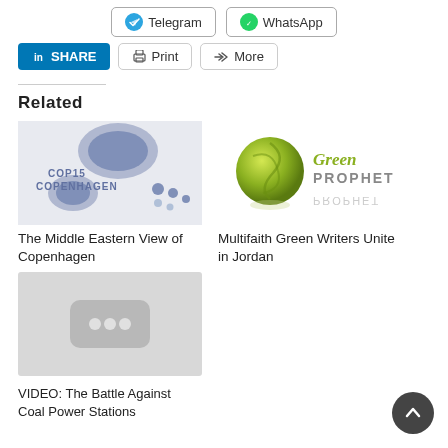[Figure (screenshot): Social share buttons row 1: Telegram and WhatsApp buttons]
[Figure (screenshot): Social share buttons row 2: LinkedIn Share, Print, and More buttons]
Related
[Figure (photo): Thumbnail image of COP15 Copenhagen badge/tag with blue dots]
The Middle Eastern View of Copenhagen
[Figure (logo): Green Prophet logo - green orb with swirl pattern and Green Prophet text]
Multifaith Green Writers Unite in Jordan
[Figure (screenshot): Video thumbnail placeholder with three dots loading icon]
VIDEO: The Battle Against Coal Power Stations